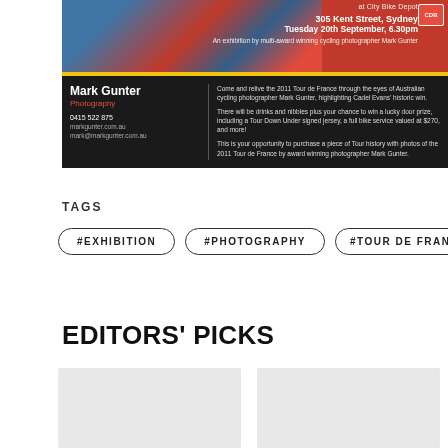[Figure (photo): Advertisement banner for a cycling photography exhibition by Mark Gunter at City Bike Depot, 305 Kent Street Sydney, Tuesday 20th September 6.30pm. Features Australian flag and cycling imagery on red background with yellow accent bar and dark lower section with photographer contact details and event description text.]
TAGS
#EXHIBITION
#PHOTOGRAPHY
#TOUR DE FRAN
EDITORS' PICKS
[Figure (photo): Placeholder image card (light gray)]
[Figure (photo): Placeholder image card (light gray)]